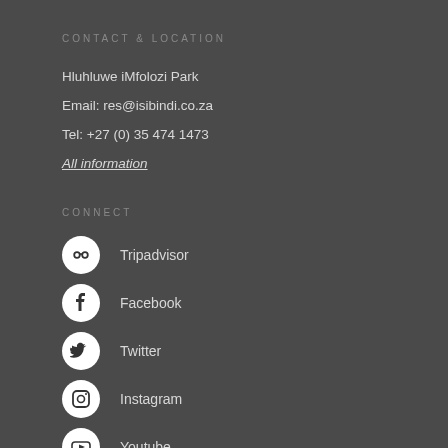CONTACT & LOCATION
Hluhluwe iMfolozi Park
Email: res@isibindi.co.za
Tel: +27 (0) 35 474 1473
All information
CONNECT
Tripadvisor
Facebook
Twitter
Instagram
Youtube